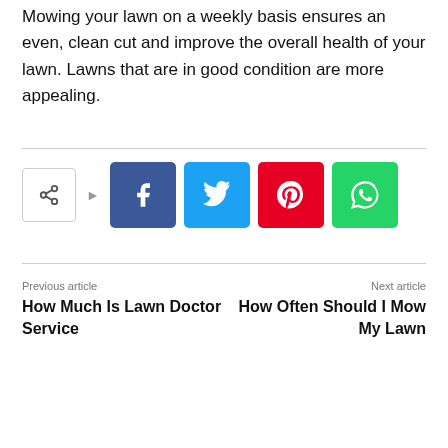Mowing your lawn on a weekly basis ensures an even, clean cut and improve the overall health of your lawn. Lawns that are in good condition are more appealing.
[Figure (other): Social sharing buttons: share icon with arrow, Facebook, Twitter, Pinterest, WhatsApp]
Previous article
How Much Is Lawn Doctor Service
Next article
How Often Should I Mow My Lawn